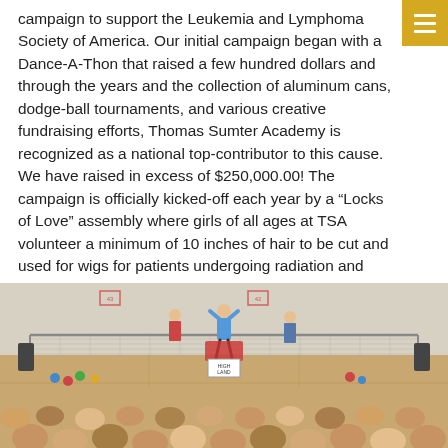campaign to support the Leukemia and Lymphoma Society of America. Our initial campaign began with a Dance-A-Thon that raised a few hundred dollars and through the years and the collection of aluminum cans, dodge-ball tournaments, and various creative fundraising efforts, Thomas Sumter Academy is recognized as a national top-contributor to this cause. We have raised in excess of $250,000.00! The campaign is officially kicked-off each year by a “Locks of Love” assembly where girls of all ages at TSA volunteer a minimum of 10 inches of hair to be cut and used for wigs for patients undergoing radiation and chemotherapy.
[Figure (photo): Photo of students and adults in a gymnasium during what appears to be a dodge-ball tournament or assembly. People are standing on a gym floor with colored balls scattered around. A net is visible across the court. Spectators sit in the foreground.]